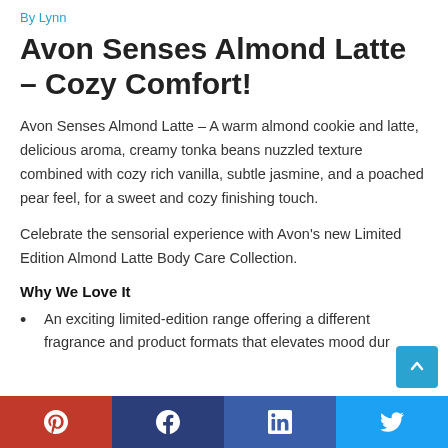By Lynn
Avon Senses Almond Latte – Cozy Comfort!
Avon Senses Almond Latte – A warm almond cookie and latte, delicious aroma, creamy tonka beans nuzzled texture combined with cozy rich vanilla, subtle jasmine, and a poached pear feel, for a sweet and cozy finishing touch.
Celebrate the sensorial experience with Avon's new Limited Edition Almond Latte Body Care Collection.
Why We Love It
An exciting limited-edition range offering a different fragrance and product formats that elevates mood dur…